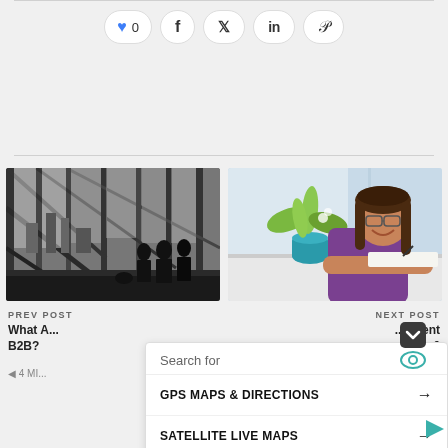[Figure (screenshot): Social sharing buttons row: heart/like button with count 0, Facebook, Twitter, LinkedIn, Pinterest icons in pill-shaped borders]
[Figure (photo): Left: black and white photo of silhouetted people standing at large windows overlooking a city skyline. Right: color photo of a smiling woman with glasses in a purple blazer leaning on a desk with a blue potted plant.]
PREV POST
NEXT POST
What A... B2B?
ement nese 6 tegies READ
4 MI
[Figure (screenshot): Search overlay dropdown with 'Search for' header, GPS MAPS & DIRECTIONS item with arrow, SATELLITE LIVE MAPS item with arrow, Yahoo! Search | Sponsored footer]